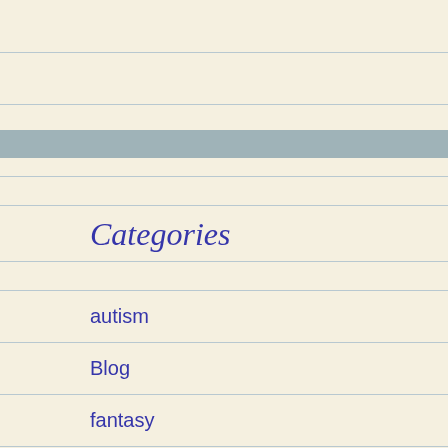Categories
autism
Blog
fantasy
Mental Health
non fiction
On Writing
Reviews
sci fi